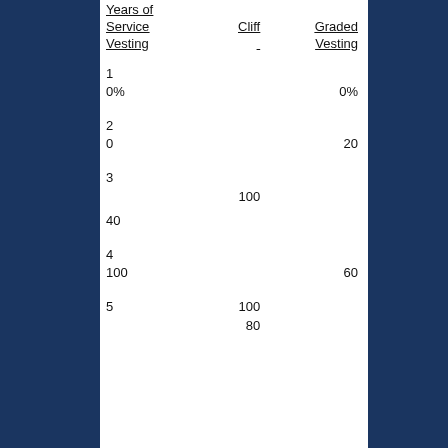| Years of Service
Vesting | Cliff | Graded Vesting |
| --- | --- | --- |
| 1 |  |  |
| 0% |  | 0% |
| 2 |  |  |
| 0 |  | 20 |
| 3 |  |  |
|  | 100 |  |
| 40 |  |  |
| 4 |  |  |
| 100 |  | 60 |
| 5 | 100 |  |
|  | 80 |  |